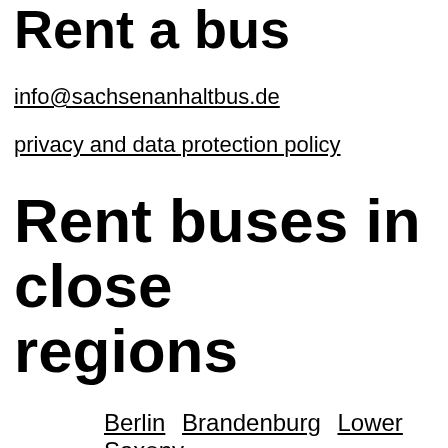Rent a bus
info@sachsenanhaltbus.de
privacy and data protection policy
Rent buses in close regions
Berlin   Brandenburg   Lower Saxony